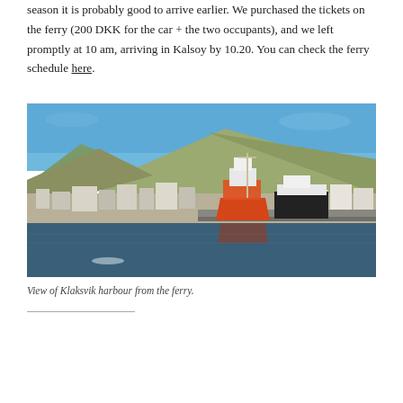season it is probably good to arrive earlier. We purchased the tickets on the ferry (200 DKK for the car + the two occupants), and we left promptly at 10 am, arriving in Kalsoy by 10.20. You can check the ferry schedule here.
[Figure (photo): View of Klaksvik harbour from the ferry. An orange-hulled ship is docked at the pier, with the town and steep green-brown mountain hills in the background under a clear blue sky.]
View of Klaksvik harbour from the ferry.